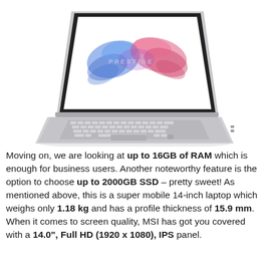[Figure (photo): MSI Prestige laptop computer shown in a 3/4 angle view, open with screen displaying colorful blue and pink smoke art with the text 'PRESTIGE'. The laptop has a silver/aluminum body with a full keyboard and trackpad visible.]
Moving on, we are looking at up to 16GB of RAM which is enough for business users. Another noteworthy feature is the option to choose up to 2000GB SSD – pretty sweet! As mentioned above, this is a super mobile 14-inch laptop which weighs only 1.18 kg and has a profile thickness of 15.9 mm. When it comes to screen quality, MSI has got you covered with a 14.0", Full HD (1920 x 1080), IPS panel.